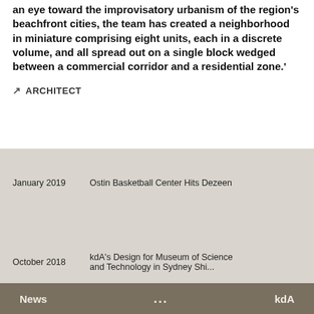an eye toward the improvisatory urbanism of the region's beachfront cities, the team has created a neighborhood in miniature comprising eight units, each in a discrete volume, and all spread out on a single block wedged between a commercial corridor and a residential zone.'
↗ ARCHITECT
January 2019    Ostin Basketball Center Hits Dezeen
October 2018    kdA's Design for Museum of Science and Technology in Sydney Shi...
News  ...  kdA